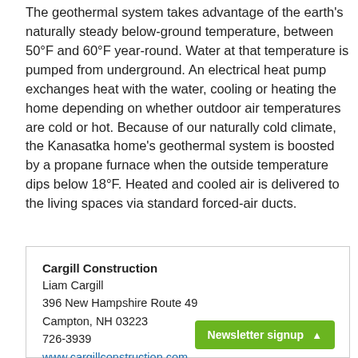The geothermal system takes advantage of the earth's naturally steady below-ground temperature, between 50°F and 60°F year-round. Water at that temperature is pumped from underground. An electrical heat pump exchanges heat with the water, cooling or heating the home depending on whether outdoor air temperatures are cold or hot. Because of our naturally cold climate, the Kanasatka home's geothermal system is boosted by a propane furnace when the outside temperature dips below 18°F. Heated and cooled air is delivered to the living spaces via standard forced-air ducts.
Cargill Construction
Liam Cargill
396 New Hampshire Route 49
Campton, NH 03223
726-3939
www.cargillconstruction.com